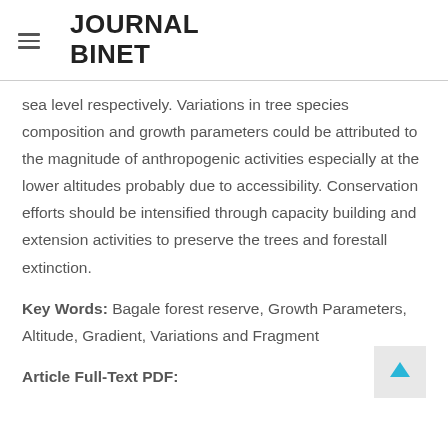JOURNAL BINET
sea level respectively. Variations in tree species composition and growth parameters could be attributed to the magnitude of anthropogenic activities especially at the lower altitudes probably due to accessibility. Conservation efforts should be intensified through capacity building and extension activities to preserve the trees and forestall extinction.
Key Words: Bagale forest reserve, Growth Parameters, Altitude, Gradient, Variations and Fragment
Article Full-Text PDF: